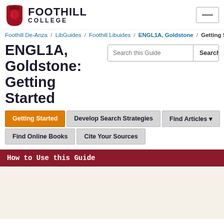[Figure (logo): Foothill College logo with red acorn shield icon and FOOTHILL COLLEGE text]
Foothill De-Anza / LibGuides / Foothill Libuides / ENGL1A, Goldstone / Getting Started
ENGL1A, Goldstone: Getting Started
Getting Started
Develop Search Strategies
Find Articles
Find Online Books
Cite Your Sources
How to Use this Guide